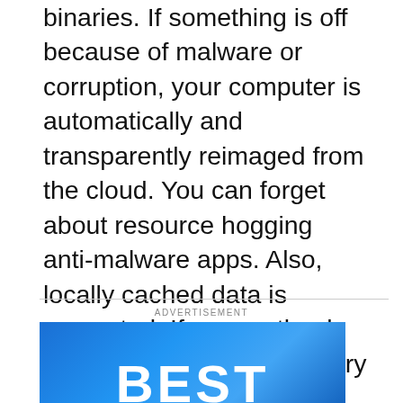binaries. If something is off because of malware or corruption, your computer is automatically and transparently reimaged from the cloud. You can forget about resource hogging anti-malware apps. Also, locally cached data is encrypted. If your netbook were stolen, it would be very difficult for anyone to recover any personal data. When you replace your netbook, all of your settings and data are right there. In fact, your entire environment is replicated from the cloud on any Chrome netbook you log into.
ADVERTISEMENT
[Figure (photo): Blue gradient advertisement banner with the word BEST in large bold white letters at the bottom]